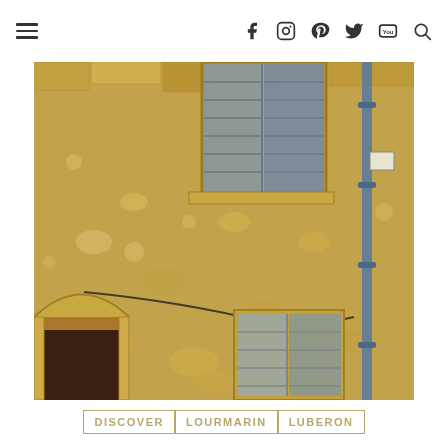Navigation bar with hamburger menu and social media icons: Facebook, Instagram, Pinterest, Twitter, YouTube, Search
[Figure (photo): Close-up photograph of a traditional Provençal stone building facade in Lourmarin, Luberon. The golden limestone wall is textured with irregular stones. Aged blue-grey wooden shutters are visible on windows. A blue drainpipe runs vertically along the right side. An open doorway with a wooden door is visible at lower left, and a shuttered door at lower center-right.]
DISCOVER   LOURMARIN   LUBERON